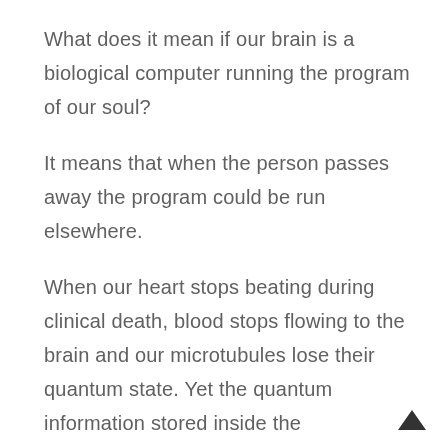What does it mean if our brain is a biological computer running the program of our soul?
It means that when the person passes away the program could be run elsewhere.
When our heart stops beating during clinical death, blood stops flowing to the brain and our microtubules lose their quantum state. Yet the quantum information stored inside the microtubules does NOT get destroyed in the process – rather, it dissipates out into the Universe.